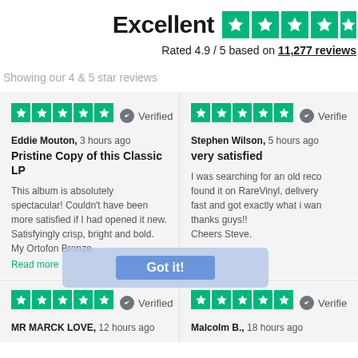Excellent — Rated 4.9 / 5 based on 11,277 reviews
Showing our 4 & 5 star reviews
Eddie Mouton, 3 hours ago
Pristine Copy of this Classic LP
This album is absolutely spectacular! Couldn't have been more satisfied if I had opened it new. Satisfyingly crisp, bright and bold. My Ortofon Bronze... Read more
Stephen Wilson, 5 hours ago
very satisfied
I was searching for an old record, found it on RareVinyl, delivery fast and got exactly what i want, thanks guys!! Cheers Steve.
Got it!
MR MARCK LOVE, 12 hours ago
Malcolm B., 18 hours ago